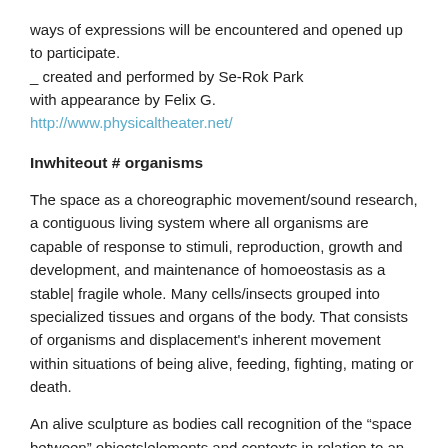ways of expressions will be encountered and opened up to participate.
_ created and performed by Se-Rok Park
with appearance by Felix G.
http://www.physicaltheater.net/
Inwhiteout # organisms
The space as a choreographic movement/sound research, a contiguous living system where all organisms are capable of response to stimuli, reproduction, growth and development, and maintenance of homoeostasis as a stable| fragile whole. Many cells/insects grouped into specialized tissues and organs of the body. That consists of organisms and displacement's inherent movement within situations of being alive, feeding, fighting, mating or death.
An alive sculpture as bodies call recognition of the “space between” objects|elements and contexts in relation to an audience in a space and time.
A cycle is established as well as an uninterrupted dynamic that enables the changing/triggering of perception in the elasticity of spatio-temporal contents, which support the collective moment, in this case generated by